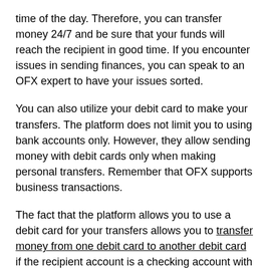time of the day. Therefore, you can transfer money 24/7 and be sure that your funds will reach the recipient in good time. If you encounter issues in sending finances, you can speak to an OFX expert to have your issues sorted.
You can also utilize your debit card to make your transfers. The platform does not limit you to using bank accounts only. However, they allow sending money with debit cards only when making personal transfers. Remember that OFX supports business transactions.
The fact that the platform allows you to use a debit card for your transfers allows you to transfer money from one debit card to another debit card if the recipient account is a checking account with a debit card.
What if my funds do not transfer?